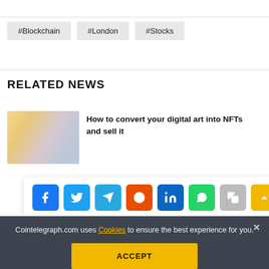#Blockchain
#London
#Stocks
RELATED NEWS
[Figure (photo): Person looking at phone/device, related news thumbnail]
How to convert your digital art into NFTs and sell it
[Figure (screenshot): Social media share bar with Facebook, Twitter, Telegram, Reddit, LinkedIn, WhatsApp, Copy, and scroll-up buttons]
Cointelegraph.com uses Cookies to ensure the best experience for you.
ACCEPT